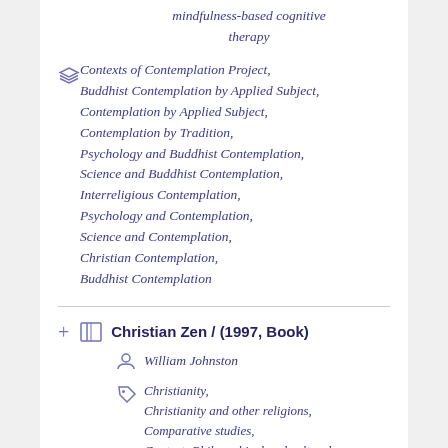mindfulness-based cognitive therapy
Contexts of Contemplation Project, Buddhist Contemplation by Applied Subject, Contemplation by Applied Subject, Contemplation by Tradition, Psychology and Buddhist Contemplation, Science and Buddhist Contemplation, Interreligious Contemplation, Psychology and Contemplation, Science and Contemplation, Christian Contemplation, Buddhist Contemplation
Christian Zen / (1997, Book)
William Johnston
Christianity, Christianity and other religions, Comparative studies, Context: Philosophical and cultural belief systems, Context: Synergy of different